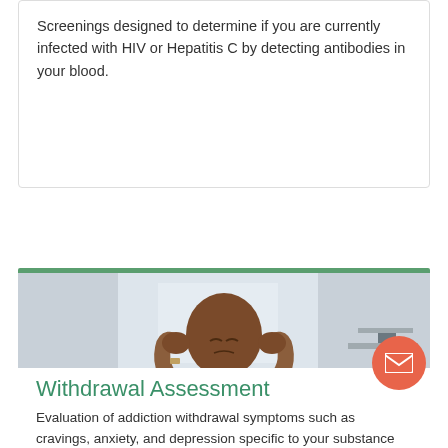Screenings designed to determine if you are currently infected with HIV or Hepatitis C by detecting antibodies in your blood.
[Figure (photo): A man of African descent sitting down, holding his head in both hands with eyes closed, appearing distressed or in pain, wearing a white t-shirt, with a blurred light interior background.]
Withdrawal Assessment
Evaluation of addiction withdrawal symptoms such as cravings, anxiety, and depression specific to your substance